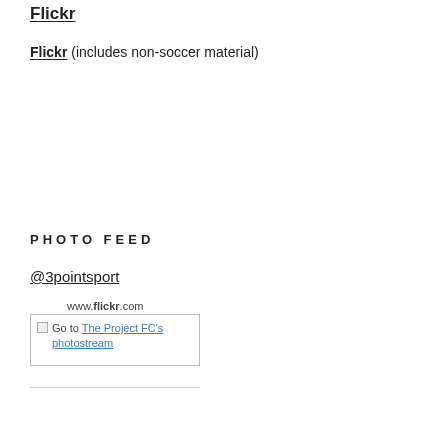Flickr
Flickr (includes non-soccer material)
PHOTO FEED
@3pointsport
www.flickr.com
Go to The Project FC's photostream